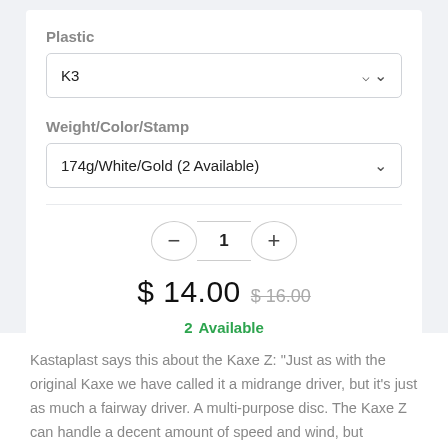Plastic
K3
Weight/Color/Stamp
174g/White/Gold (2 Available)
1
$ 14.00  $ 16.00
2  Available
Add to Cart
Kastaplast says this about the Kaxe Z: "Just as with the original Kaxe we have called it a midrange driver, but it's just as much a fairway driver. A multi-purpose disc. The Kaxe Z can handle a decent amount of speed and wind, but